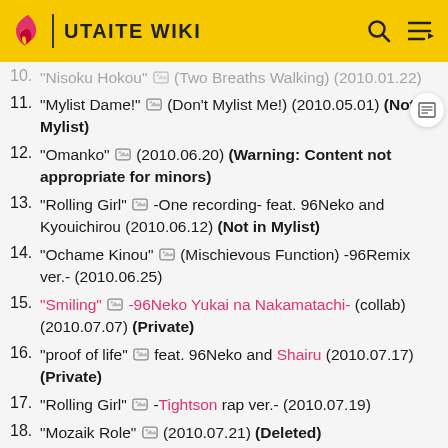UTAITE WIKI
10. "Nisoku Hokou" [img] (Two Breaths Walking) (2010.01.22)
11. "Mylist Dame!" [img] (Don't Mylist Me!) (2010.05.01) (Not in Mylist)
12. "Omanko" [img] (2010.06.20) (Warning: Content not appropriate for minors)
13. "Rolling Girl" [img] -One recording- feat. 96Neko and Kyouichirou (2010.06.12) (Not in Mylist)
14. "Ochame Kinou" [img] (Mischievous Function) -96Remix ver.- (2010.06.25)
15. "Smiling" [img] -96Neko Yukai na Nakamatachi- (collab) (2010.07.07) (Private)
16. "proof of life" [img] feat. 96Neko and Shairu (2010.07.17) (Private)
17. "Rolling Girl" [img] -Tightson rap ver.- (2010.07.19)
18. "Mozaik Role" [img] (2010.07.21) (Deleted)